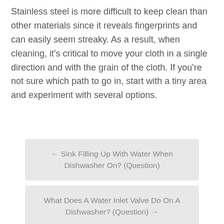Stainless steel is more difficult to keep clean than other materials since it reveals fingerprints and can easily seem streaky. As a result, when cleaning, it's critical to move your cloth in a single direction and with the grain of the cloth. If you're not sure which path to go in, start with a tiny area and experiment with several options.
← Sink Filling Up With Water When Dishwasher On? (Question)
What Does A Water Inlet Valve Do On A Dishwasher? (Question) →